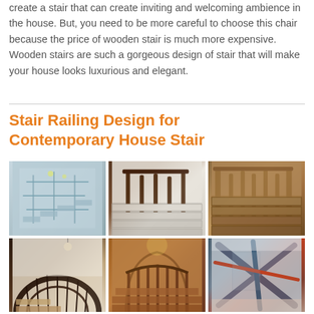create a stair that can create inviting and welcoming ambience in the house. But, you need to be more careful to choose this chair because the price of wooden stair is much more expensive. Wooden stairs are such a gorgeous design of stair that will make your house looks luxurious and elegant.
Stair Railing Design for Contemporary House Stair
[Figure (photo): 3x2 grid of six stair railing design photos showing various contemporary and traditional stair railing styles including glass, wood, wrought iron, and modern designs.]